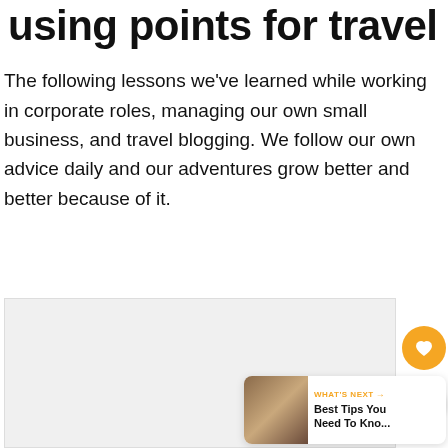using points for travel
The following lessons we've learned while working in corporate roles, managing our own small business, and travel blogging. We follow our own advice daily and our adventures grow better and better because of it.
[Figure (photo): Partially visible photo placeholder at the bottom of the page, with social sharing buttons (heart/favorite and share) overlaid on the right side, and a 'What's Next' card showing 'Best Tips You Need To Kno...' with a thumbnail image.]